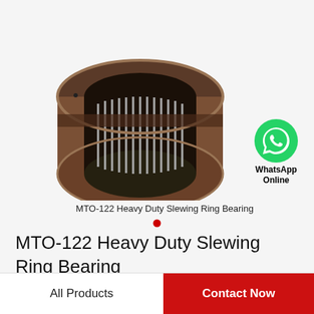[Figure (photo): MTO-122 Heavy Duty Slewing Ring Bearing - a cylindrical needle roller bearing shown at an angle, dark brown/bronze colored outer ring with needle rollers visible inside]
[Figure (logo): WhatsApp green phone icon with label WhatsApp Online]
MTO-122 Heavy Duty Slewing Ring Bearing
MTO-122 Heavy Duty Slewing Ring Bearing
All Products
Contact Now